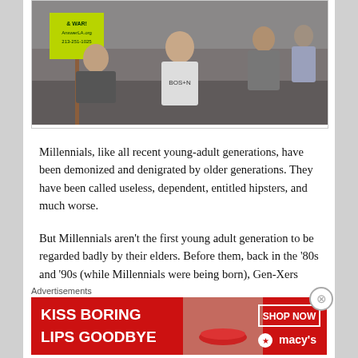[Figure (photo): Protest scene with young people sitting on the ground; one holds a green sign reading '& WAR! AnswerLA.org 213-251-1025'. Others are visible in the background.]
Millennials, like all recent young-adult generations, have been demonized and denigrated by older generations. They have been called useless, dependent, entitled hipsters, and much worse.
But Millennials aren't the first young adult generation to be regarded badly by their elders. Before them, back in the '80s and '90s (while Millennials were being born), Gen-Xers were dismissed by older generations as lazy, nihilistic, materialistic, uninvolved slackers. Before them, back in the '60s and '70s, Boomers were regarded as rebellious,
Advertisements
[Figure (photo): Advertisement banner: red background with woman's lips. Left text: 'KISS BORING LIPS GOODBYE'. Right side: 'SHOP NOW' button and Macy's logo with star.]